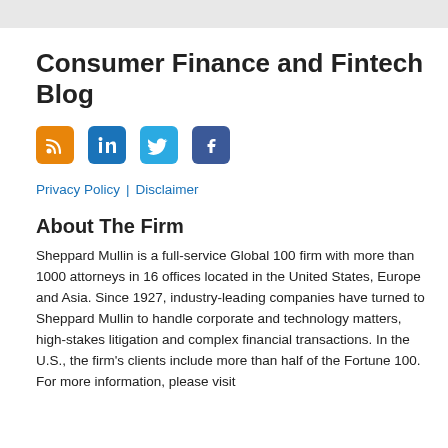Consumer Finance and Fintech Blog
[Figure (infographic): Four social media icon buttons: RSS (orange), LinkedIn (blue), Twitter (light blue), Facebook (dark blue)]
Privacy Policy | Disclaimer
About The Firm
Sheppard Mullin is a full-service Global 100 firm with more than 1000 attorneys in 16 offices located in the United States, Europe and Asia. Since 1927, industry-leading companies have turned to Sheppard Mullin to handle corporate and technology matters, high-stakes litigation and complex financial transactions. In the U.S., the firm's clients include more than half of the Fortune 100. For more information, please visit